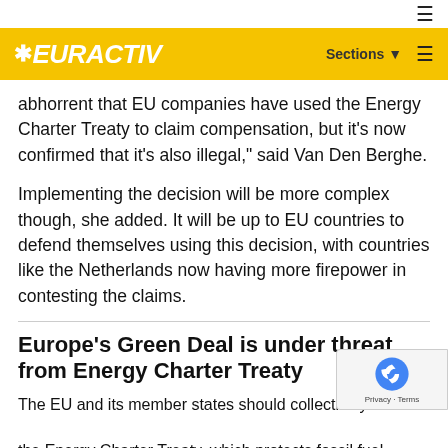EURACTIV
abhorrent that EU companies have used the Energy Charter Treaty to claim compensation, but it's now confirmed that it's also illegal," said Van Den Berghe.
Implementing the decision will be more complex though, she added. It will be up to EU countries to defend themselves using this decision, with countries like the Netherlands now having more firepower in contesting the claims.
Europe's Green Deal is under threat from Energy Charter Treaty
The EU and its member states should collectively withdraw the Energy Charter Treaty, which protects fossil fuel investments